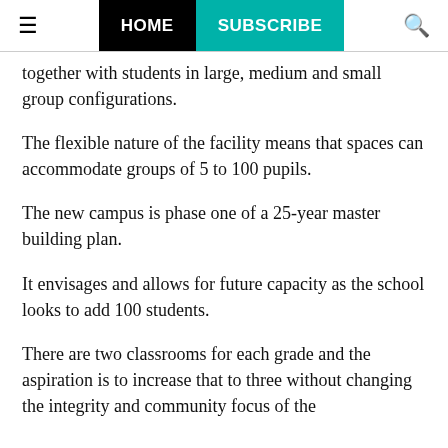HOME | SUBSCRIBE
together with students in large, medium and small group configurations.
The flexible nature of the facility means that spaces can accommodate groups of 5 to 100 pupils.
The new campus is phase one of a 25-year master building plan.
It envisages and allows for future capacity as the school looks to add 100 students.
There are two classrooms for each grade and the aspiration is to increase that to three without changing the integrity and community focus of the